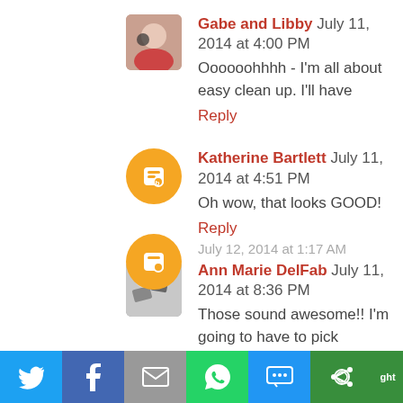Gabe and Libby July 11, 2014 at 4:00 PM
Oooooohhhh - I'm all about easy clean up. I'll have
Reply
Katherine Bartlett July 11, 2014 at 4:51 PM
Oh wow, that looks GOOD!
Reply
Ann Marie DelFab July 11, 2014 at 8:36 PM
Those sound awesome!! I'm going to have to pick but hubby is anti - Dr. Pepper! LOL
Reply
[Figure (screenshot): Social share bar at the bottom with Twitter, Facebook, Email, WhatsApp, SMS, and other sharing icons]